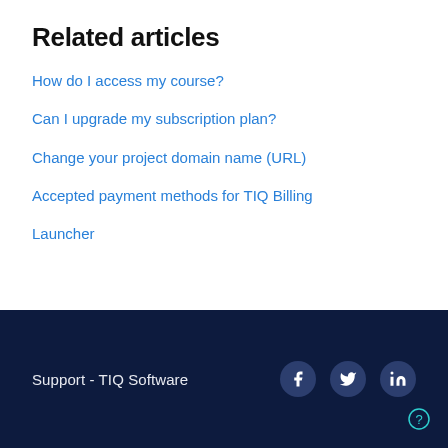Related articles
How do I access my course?
Can I upgrade my subscription plan?
Change your project domain name (URL)
Accepted payment methods for TIQ Billing
Launcher
Support - TIQ Software